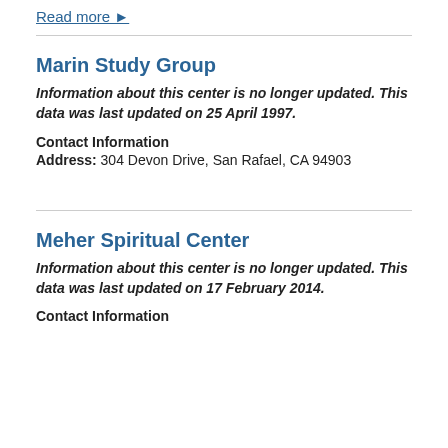Read more ►
Marin Study Group
Information about this center is no longer updated. This data was last updated on 25 April 1997.
Contact Information
Address: 304 Devon Drive, San Rafael, CA 94903
Meher Spiritual Center
Information about this center is no longer updated. This data was last updated on 17 February 2014.
Contact Information